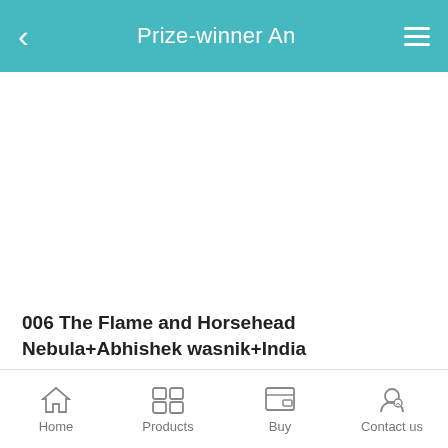Prize-winner An
[Figure (photo): Large image area (white/blank) showing an astrophotography image of the Flame and Horsehead Nebula — content not visible in this crop]
006 The Flame and Horsehead Nebula+Abhishek wasnik+India
The Flame and Horsehead Nebula
We shot this from our bootcamp site aka my friends farmhouse which is a bortle 4ish zone.
Even though data is very less, just mere 2.5 hours, the
Home  Products  Buy  Contact us